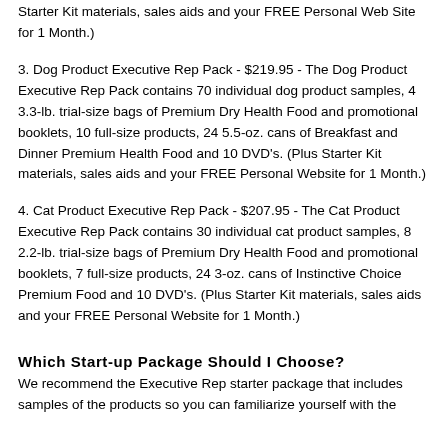Starter Kit materials, sales aids and your FREE Personal Web Site for 1 Month.)
3. Dog Product Executive Rep Pack - $219.95 - The Dog Product Executive Rep Pack contains 70 individual dog product samples, 4 3.3-lb. trial-size bags of Premium Dry Health Food and promotional booklets, 10 full-size products, 24 5.5-oz. cans of Breakfast and Dinner Premium Health Food and 10 DVD's. (Plus Starter Kit materials, sales aids and your FREE Personal Website for 1 Month.)
4. Cat Product Executive Rep Pack - $207.95 - The Cat Product Executive Rep Pack contains 30 individual cat product samples, 8 2.2-lb. trial-size bags of Premium Dry Health Food and promotional booklets, 7 full-size products, 24 3-oz. cans of Instinctive Choice Premium Food and 10 DVD's. (Plus Starter Kit materials, sales aids and your FREE Personal Website for 1 Month.)
Which Start-up Package Should I Choose?
We recommend the Executive Rep starter package that includes samples of the products so you can familiarize yourself with the